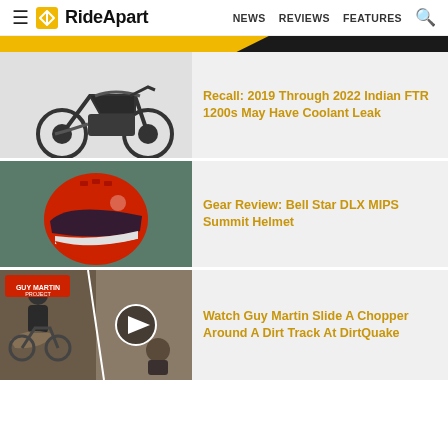RideApart — NEWS  REVIEWS  FEATURES
[Figure (screenshot): RideApart website header with hamburger menu, logo, navigation links NEWS, REVIEWS, FEATURES, and search icon]
[Figure (photo): Black Indian FTR 1200 motorcycle on white background]
Recall: 2019 Through 2022 Indian FTR 1200s May Have Coolant Leak
[Figure (photo): Red and white Bell Star DLX MIPS Summit Helmet on a racetrack background]
Gear Review: Bell Star DLX MIPS Summit Helmet
[Figure (photo): Guy Martin riding a chopper on a dirt track at DirtQuake, split image with play button overlay]
Watch Guy Martin Slide A Chopper Around A Dirt Track At DirtQuake